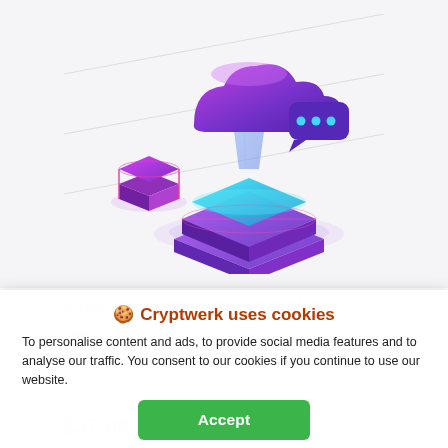[Figure (illustration): Isometric 3D illustration of cloud computing / cryptocurrency storage: a purple-pink cloud with chat bubble and glowing dots, connected via a translucent blue prism/crystal shape to layered purple-blue platform blocks, with a small purple square block to the left. Gradient purple/magenta/cyan color scheme on a light gray background.]
Save 50% with 12 months plan
To personalise content and ads, to provide social media features and to analyse our traffic. You consent to our cookies if you continue to use our website.
🍪 Cryptwerk uses cookies
Accept